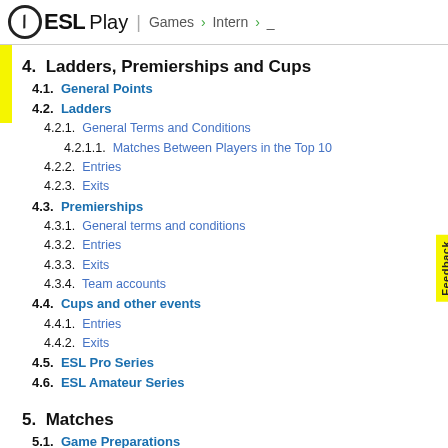ESL Play | Games > Intern > _
4.  Ladders, Premierships and Cups
4.1.  General Points
4.2.  Ladders
4.2.1.  General Terms and Conditions
4.2.1.1.  Matches Between Players in the Top 10
4.2.2.  Entries
4.2.3.  Exits
4.3.  Premierships
4.3.1.  General terms and conditions
4.3.2.  Entries
4.3.3.  Exits
4.3.4.  Team accounts
4.4.  Cups and other events
4.4.1.  Entries
4.4.2.  Exits
4.5.  ESL Pro Series
4.6.  ESL Amateur Series
5.  Matches
5.1.  Game Preparations
5.1.1.  Match Broadcasting
5.1.2.  Match Arrangements
5.2.  Server
5.2.1.  Choice of server
5.2.2.  Server settings
5.2.3.  Ping